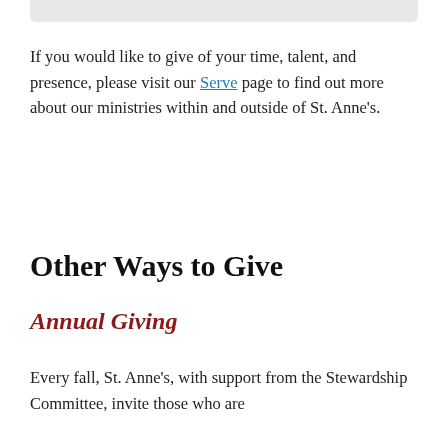If you would like to give of your time, talent, and presence, please visit our Serve page to find out more about our ministries within and outside of St. Anne's.
Other Ways to Give
Annual Giving
Every fall, St. Anne's, with support from the Stewardship Committee, invite those who are participating in the life of St. Anne's to make a